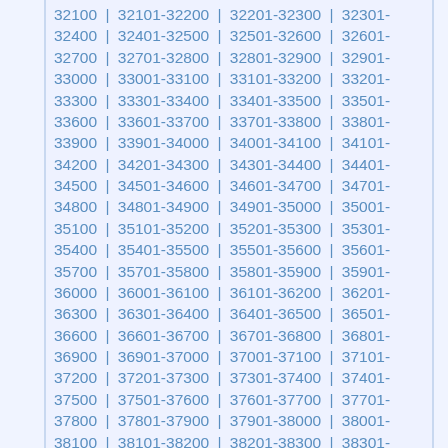32100 | 32101-32200 | 32201-32300 | 32301-32400 | 32401-32500 | 32501-32600 | 32601-32700 | 32701-32800 | 32801-32900 | 32901-33000 | 33001-33100 | 33101-33200 | 33201-33300 | 33301-33400 | 33401-33500 | 33501-33600 | 33601-33700 | 33701-33800 | 33801-33900 | 33901-34000 | 34001-34100 | 34101-34200 | 34201-34300 | 34301-34400 | 34401-34500 | 34501-34600 | 34601-34700 | 34701-34800 | 34801-34900 | 34901-35000 | 35001-35100 | 35101-35200 | 35201-35300 | 35301-35400 | 35401-35500 | 35501-35600 | 35601-35700 | 35701-35800 | 35801-35900 | 35901-36000 | 36001-36100 | 36101-36200 | 36201-36300 | 36301-36400 | 36401-36500 | 36501-36600 | 36601-36700 | 36701-36800 | 36801-36900 | 36901-37000 | 37001-37100 | 37101-37200 | 37201-37300 | 37301-37400 | 37401-37500 | 37501-37600 | 37601-37700 | 37701-37800 | 37801-37900 | 37901-38000 | 38001-38100 | 38101-38200 | 38201-38300 | 38301-38400 | 38401-38500 | 38501-38600 | 38601-38700 | 38701-38800 | 38801-38900 | 38901-39000 | 39001-39100 | 39101-39200 | 39201-39300 | 39301-39400 | 39401-39500 | 39501-39600 | 39601-39700 | 39701-39800 | 39801-39900 | 39901-40000 | 40001-40100